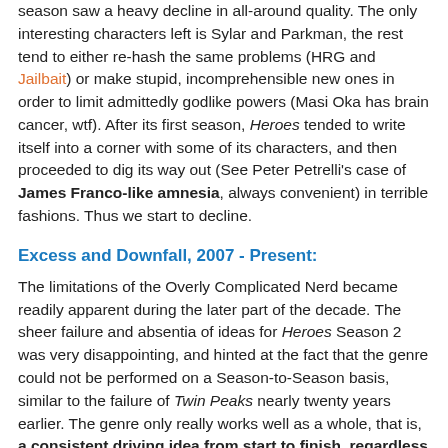season saw a heavy decline in all-around quality. The only interesting characters left is Sylar and Parkman, the rest tend to either re-hash the same problems (HRG and Jailbait) or make stupid, incomprehensible new ones in order to limit admittedly godlike powers (Masi Oka has brain cancer, wtf). After its first season, Heroes tended to write itself into a corner with some of its characters, and then proceeded to dig its way out (See Peter Petrelli's case of James Franco-like amnesia, always convenient) in terrible fashions. Thus we start to decline.
Excess and Downfall, 2007 - Present:
The limitations of the Overly Complicated Nerd became readily apparent during the later part of the decade. The sheer failure and absentia of ideas for Heroes Season 2 was very disappointing, and hinted at the fact that the genre could not be performed on a Season-to-Season basis, similar to the failure of Twin Peaks nearly twenty years earlier. The genre only really works well as a whole, that is, a consistent driving idea from start to finish, regardless of Series length. Thus, LOST with its supposed overarching story...